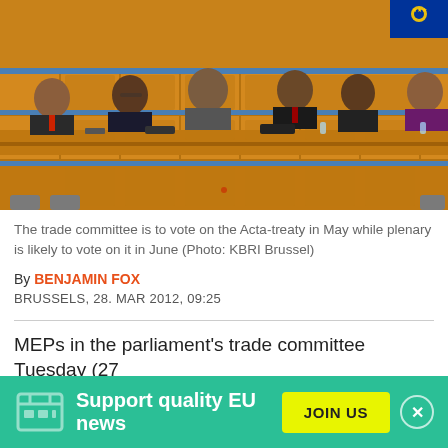[Figure (photo): Several officials seated at a long curved wooden dais in what appears to be a European Parliament committee room. The furniture is wood-paneled in amber/orange tones with blue accents. An EU flag is partially visible. Six people are visible including men in suits and a woman on the right.]
The trade committee is to vote on the Acta-treaty in May while plenary is likely to vote on it in June (Photo: KBRI Brussel)
By BENJAMIN FOX
BRUSSELS, 28. MAR 2012, 09:25
MEPs in the parliament's trade committee Tuesday (27